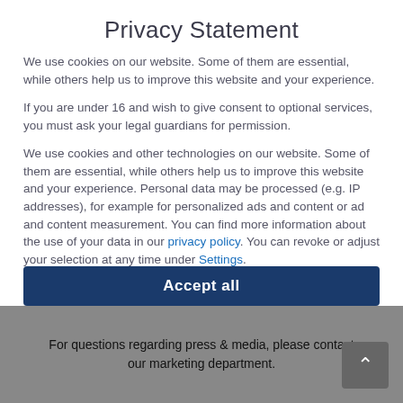Privacy Statement
We use cookies on our website. Some of them are essential, while others help us to improve this website and your experience.
If you are under 16 and wish to give consent to optional services, you must ask your legal guardians for permission.
We use cookies and other technologies on our website. Some of them are essential, while others help us to improve this website and your experience. Personal data may be processed (e.g. IP addresses), for example for personalized ads and content or ad and content measurement. You can find more information about the use of your data in our privacy policy. You can revoke or adjust your selection at any time under Settings.
Essenziell
Externe Medien
Accept all
For questions regarding press & media, please contact our marketing department.